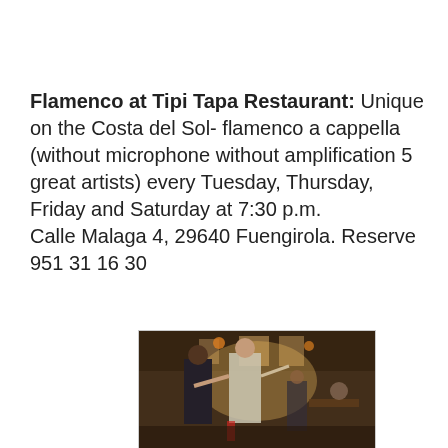Flamenco at Tipi Tapa Restaurant: Unique on the Costa del Sol- flamenco a cappella (without microphone without amplification 5 great artists) every Tuesday, Thursday, Friday and Saturday at 7:30 p.m.
Calle Malaga 4, 29640 Fuengirola. Reserve 951 31 16 30
[Figure (photo): Photo of flamenco performers inside Tipi Tapa Restaurant, showing dancers/artists in a warmly lit dining room with other guests visible in the background.]